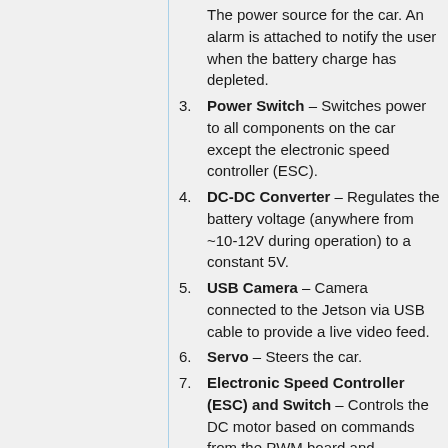The power source for the car. An alarm is attached to notify the user when the battery charge has depleted.
3. Power Switch – Switches power to all components on the car except the electronic speed controller (ESC).
4. DC-DC Converter – Regulates the battery voltage (anywhere from ~10-12V during operation) to a constant 5V.
5. USB Camera – Camera connected to the Jetson via USB cable to provide a live video feed.
6. Servo – Steers the car.
7. Electronic Speed Controller (ESC) and Switch – Controls the DC motor based on commands from the PWM board and